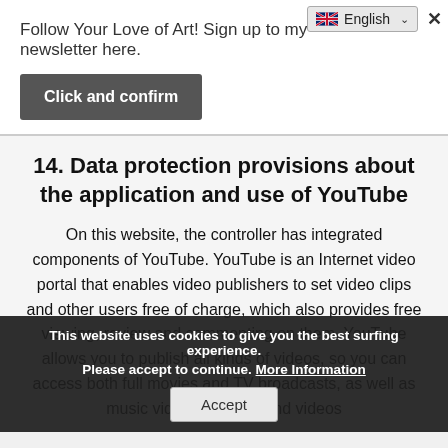Follow Your Love of Art! Sign up to my newsletter here.
Click and confirm
14. Data protection provisions about the application and use of YouTube
On this website, the controller has integrated components of YouTube. YouTube is an Internet video portal that enables video publishers to set video clips and other users free of charge, which also provides free viewing, review and commenting on them. YouTube allows you to publish all kinds of videos, so you can access both full movies and TV broadcasts, as well as music videos, trailers, and videos produced by private individuals via the Internet portal.
The operating company of YouTube is YouTube, LLC, 901 Cherry Ave., San Bruno, CA 94066, UNITED STATES. The YouTube, LLC is a subsidiary of Google Inc., 1600
This website uses cookies to give you the best surfing experience. Please accept to continue. More Information
Accept